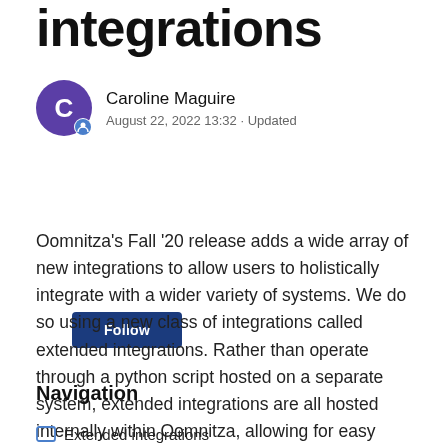integrations
Caroline Maguire
August 22, 2022 13:32 · Updated
Follow
Oomnitza's Fall '20 release adds a wide array of new integrations to allow users to holistically integrate with a wider variety of systems. We do so using a new class of integrations called extended integrations. Rather than operate through a python script hosted on a separate system, extended integrations are all hosted internally within Oomnitza, allowing for easy setup, configuration, and modification.
Navigation
Extended integrations